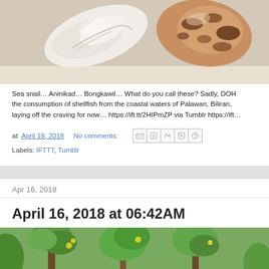[Figure (photo): Close-up photo of sea shells — a white conch/spiral shell on the left and a brown patterned shell on the right, on a light background.]
Sea snail… Aninikad… Bongkawil… What do you call these? Sadly, DOH the consumption of shellfish from the coastal waters of Palawan, Biliran, laying off the craving for now… https://ift.tt/2HIPmZP via Tumblr https://ift…
at April 18, 2018   No comments:
Labels: IFTTT, Tumblr
Apr 16, 2018
April 16, 2018 at 06:42AM
[Figure (photo): Photo of tropical vegetation/trees, green foliage with some yellow flowers visible.]